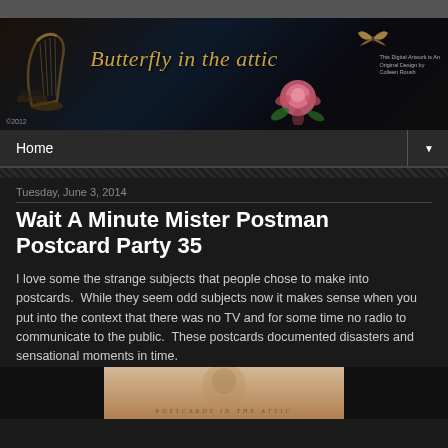[Figure (illustration): Blog header banner reading 'Butterfly in the attic' in gold italic script on a dark background with decorative harp, butterfly, and rose imagery. Copyright 2012 shown bottom left, artwork credit top right.]
Home ▼
Tuesday, June 3, 2014
Wait A Minute Mister Postman Postcard Party 35
I love some the strange subjects that people chose to make into postcards.  While they seem odd subjects now it makes sense when you put into the context that there was no TV and for some time no radio to communicate to the public.  These postcards documented disasters and sensational moments in time.
[Figure (photo): Partial image of a sepia-toned postcard with text 'POSTCARDS IN THE ATTIC' visible at bottom.]